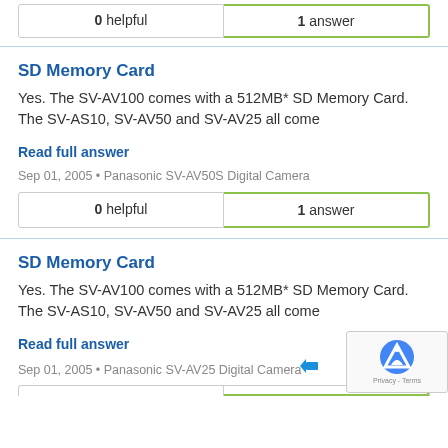0 helpful | 1 answer
SD Memory Card
Yes. The SV-AV100 comes with a 512MB* SD Memory Card. The SV-AS10, SV-AV50 and SV-AV25 all come
Read full answer
Sep 01, 2005 • Panasonic SV-AV50S Digital Camera
0 helpful | 1 answer
SD Memory Card
Yes. The SV-AV100 comes with a 512MB* SD Memory Card. The SV-AS10, SV-AV50 and SV-AV25 all come
Read full answer
Sep 01, 2005 • Panasonic SV-AV25 Digital Camera